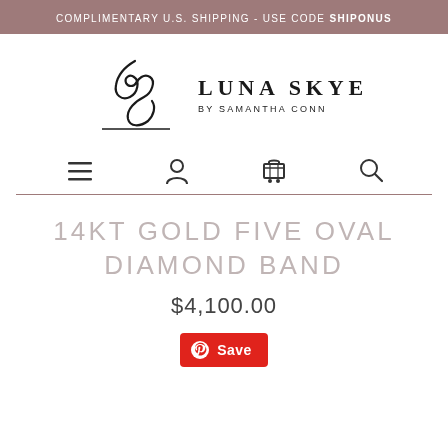COMPLIMENTARY U.S. SHIPPING - USE CODE SHIPONUS
[Figure (logo): Luna Skye by Samantha Conn logo with script LS monogram]
[Figure (infographic): Navigation bar icons: hamburger menu, user account, shopping cart, search]
14KT GOLD FIVE OVAL DIAMOND BAND
$4,100.00
[Figure (other): Pinterest Save button]